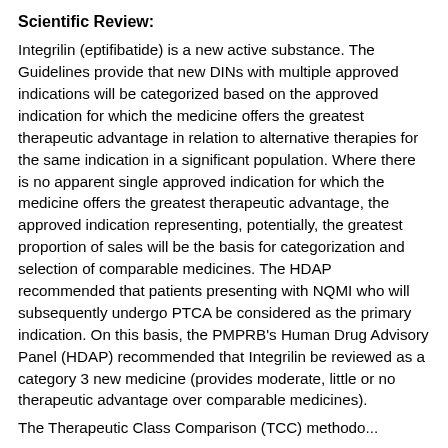Scientific Review:
Integrilin (eptifibatide) is a new active substance. The Guidelines provide that new DINs with multiple approved indications will be categorized based on the approved indication for which the medicine offers the greatest therapeutic advantage in relation to alternative therapies for the same indication in a significant population. Where there is no apparent single approved indication for which the medicine offers the greatest therapeutic advantage, the approved indication representing, potentially, the greatest proportion of sales will be the basis for categorization and selection of comparable medicines. The HDAP recommended that patients presenting with NQMI who will subsequently undergo PTCA be considered as the primary indication. On this basis, the PMPRB's Human Drug Advisory Panel (HDAP) recommended that Integrilin be reviewed as a category 3 new medicine (provides moderate, little or no therapeutic advantage over comparable medicines).
The Therapeutic Class Comparison (TCC) methodology...